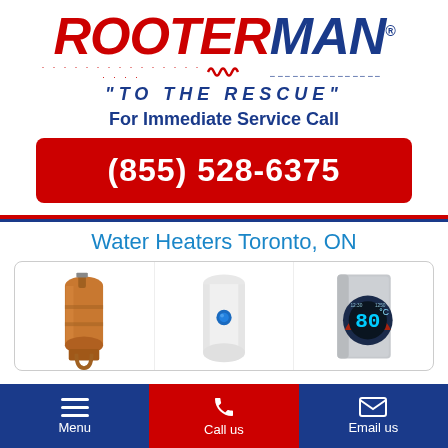[Figure (logo): Rooter-Man logo with red ROOTER and blue MAN text, italic bold, with decorative snake/spring underline and blue quotation marks]
"TO THE RESCUE"
For Immediate Service Call
(855) 528-6375
Water Heaters Toronto, ON
[Figure (illustration): Three water heater illustrations: a copper/brown tank heater, a white tank water heater, and a grey tankless electric water heater with digital display showing 80 degrees]
Menu | Call us | Email us